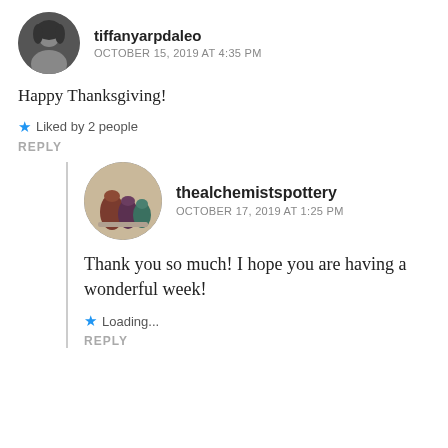[Figure (photo): Circular avatar of user tiffanyarpdaleo — black and white portrait photo of a woman with curly hair]
tiffanyarpdaleo
OCTOBER 15, 2019 AT 4:35 PM
Happy Thanksgiving!
★ Liked by 2 people
REPLY
[Figure (photo): Circular avatar of user thealchemistspottery — photo of dark colored ceramic pottery vases]
thealchemistspottery
OCTOBER 17, 2019 AT 1:25 PM
Thank you so much! I hope you are having a wonderful week!
★ Loading...
REPLY